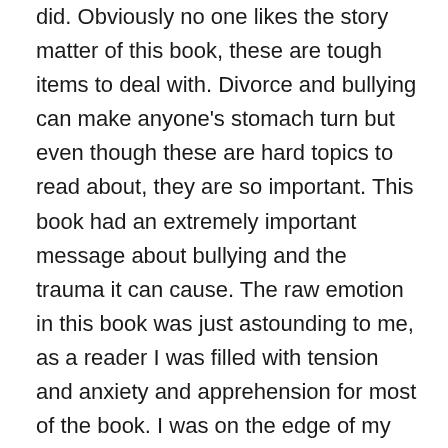did. Obviously no one likes the story matter of this book, these are tough items to deal with. Divorce and bullying can make anyone's stomach turn but even though these are hard topics to read about, they are so important. This book had an extremely important message about bullying and the trauma it can cause. The raw emotion in this book was just astounding to me, as a reader I was filled with tension and anxiety and apprehension for most of the book. I was on the edge of my seat with my stomach in flutters getting ready for the next fight. If you as a reader connect emotionally with the story then this may be a tough one because you will feel pain and desperation and frustration like you've never felt before in a book. I didn't like this book because there was a happy ending, I liked this book so much because it was powerful. It had a powerful message that it delivered with powerful emotions